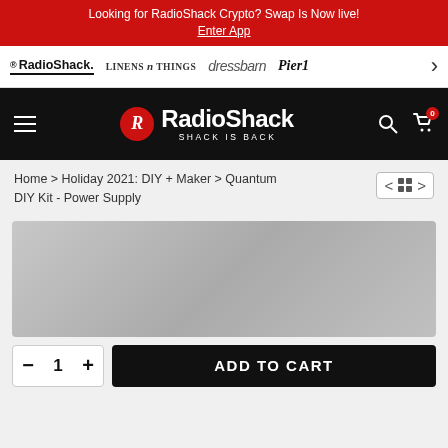Looking for RadioShack Crypto? Swap Is Now live! Enter App
[Figure (screenshot): RadioShack brand navigation bar with RadioShack, LINENS n THINGS, dressbarn, Pier1 logos and a right arrow]
[Figure (logo): RadioShack main header with hamburger menu, RadioShack logo (R circle + RadioShack SHACK IS BACK), search icon, and cart icon with 0 badge]
Home > Holiday 2021: DIY + Maker > Quantum DIY Kit - Power Supply
[Figure (photo): Product image area - gray gradient placeholder image for Quantum DIY Kit - Power Supply]
- 1 +  ADD TO CART